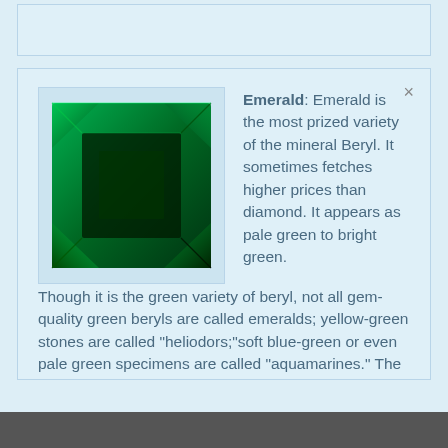[Figure (other): Top placeholder box, light blue background, empty]
[Figure (photo): Photo of a faceted emerald gemstone, square cut, deep green color with dark facets]
Emerald: Emerald is the most prized variety of the mineral Beryl. It sometimes fetches higher prices than diamond. It appears as pale green to bright green. Though it is the green variety of beryl, not all gem-quality green beryls are called emeralds; yellow-green stones are called "heliodors;"soft blue-green or even pale green specimens are called "aquamarines." The typical color of emerald is a bea (read full)